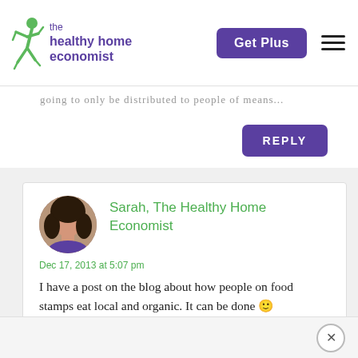the healthy home economist | Get Plus
going to only be distributed to people of means...
REPLY
[Figure (photo): Headshot of Sarah, The Healthy Home Economist — a woman with dark curly hair wearing a purple top]
Sarah, The Healthy Home Economist
Dec 17, 2013 at 5:07 pm
I have a post on the blog about how people on food stamps eat local and organic. It can be done 🙂